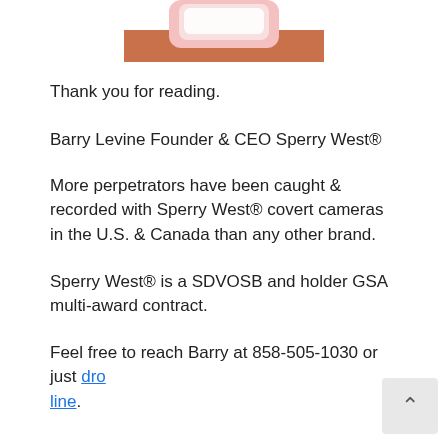[Figure (photo): Partial photo of a product (pink/white object) cropped at the top of the page]
Thank you for reading.
Barry Levine Founder & CEO Sperry West®
More perpetrators have been caught & recorded with Sperry West® covert cameras in the U.S. & Canada than any other brand.
Sperry West® is a SDVOSB and holder GSA multi-award contract.
Feel free to reach Barry at 858-505-1030 or just dro[p a] line.